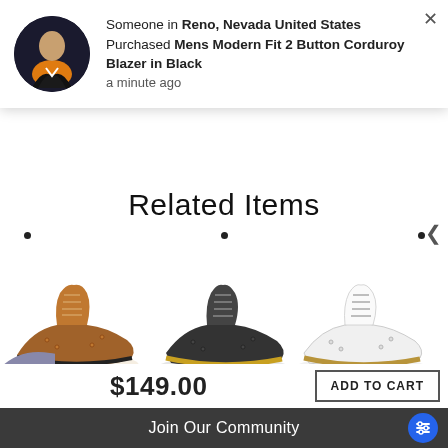[Figure (screenshot): E-commerce website screenshot showing a notification popup, Related Items section header with carousel dots, three men's dress shoe product images (tan brogue, charcoal wingtip, white brogue), a partial price display of $149.00 with ADD TO CART button, and a dark footer bar reading 'Join Our Community' with a blue settings icon button.]